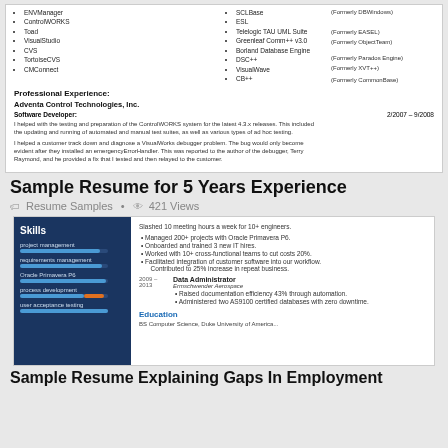[Figure (screenshot): Top portion of a resume showing tools list in two columns and Professional Experience section for Adventa Control Technologies, Inc., Software Developer role 2/2007-9/2008]
Sample Resume for 5 Years Experience
Resume Samples  •  421 Views
[Figure (screenshot): Second resume snapshot showing Skills sidebar with project management, requirements management, Oracle Primavera P6, process development, user acceptance testing skill bars on dark blue background, and right side showing bullet points, Data Administrator role at Ermschwender Aerospace 2009-2013, and Education section header]
Sample Resume Explaining Gaps In Employment